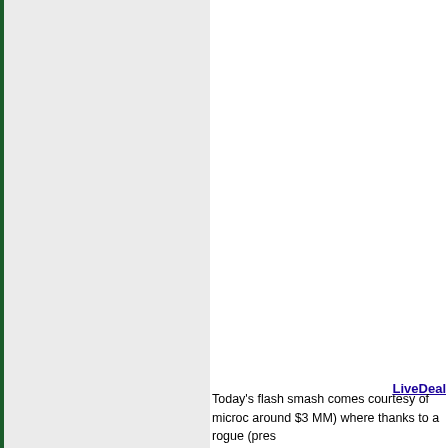LiveDeal
Today's flash smash comes courtesy of microc around $3 MM) where thanks to a rogue (pres